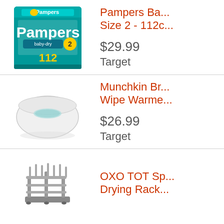[Figure (photo): Pampers Baby-Dry Size 2 diapers 112 count box, teal packaging]
Pampers Ba... Size 2 - 112c...
$29.99
Target
[Figure (photo): Munchkin Warm Glow Wipe Warmer, white oval device]
Munchkin Br... Wipe Warme...
$26.99
Target
[Figure (photo): OXO TOT Space Saving Drying Rack, gray rack with pegs]
OXO TOT Sp... Drying Rack...